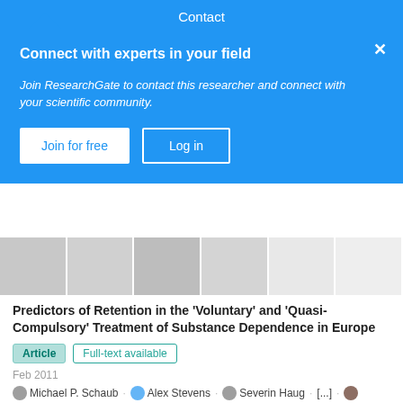Contact
Connect with experts in your field
Join ResearchGate to contact this researcher and connect with your scientific community.
Join for free   Log in
[Figure (screenshot): Thumbnail strip of document pages showing bar charts and tables]
Predictors of Retention in the 'Voluntary' and 'Quasi-Compulsory' Treatment of Substance Dependence in Europe
Article   Full-text available
Feb 2011
Michael P. Schaub · Alex Stevens · Severin Haug · [...] · Ambros Uchtenhagen
Policies and practices related to the quasi-compulsory treatment